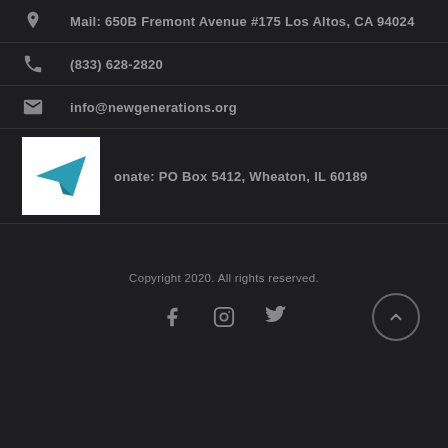Mail: 650B Fremont Avenue #175 Los Altos, CA 94024
(833) 628-2820
info@newgenerations.org
Donate: PO Box 5412, Wheaton, IL 60189
Copyright 2020. All rights reserved.